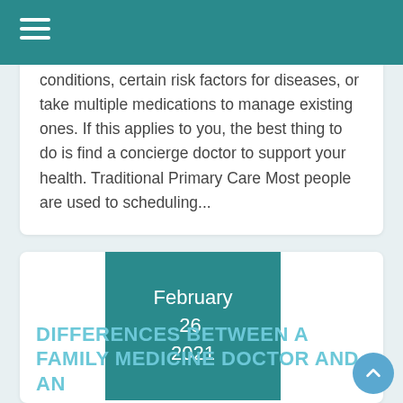conditions, certain risk factors for diseases, or take multiple medications to manage existing ones. If this applies to you, the best thing to do is find a concierge doctor to support your health. Traditional Primary Care Most people are used to scheduling...
February 26, 2021
DIFFERENCES BETWEEN A FAMILY MEDICINE DOCTOR AND AN